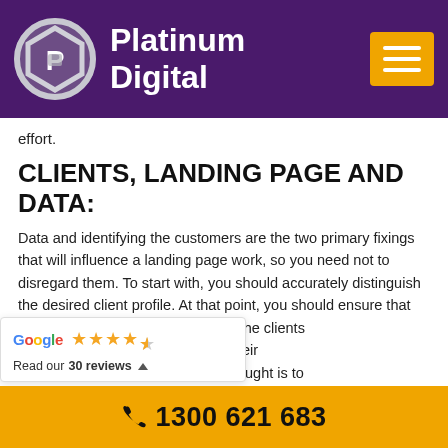Platinum Digital
effort.
CLIENTS, LANDING PAGE AND DATA:
Data and identifying the customers are the two primary fixings that will influence a landing page work, so you need not to disregard them. To start with, you should accurately distinguish the desired client profile. At that point, you should ensure that the reasonable for the clients ng, for catching their consideration. The fundamental thought is to
[Figure (screenshot): Google rating widget showing 4.5 stars and 'Read our 30 reviews' text]
1300 621 683